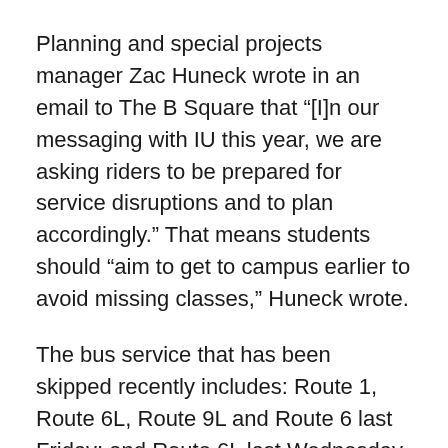Planning and special projects manager Zac Huneck wrote in an email to The B Square that “[I]n our messaging with IU this year, we are asking riders to be prepared for service disruptions and to plan accordingly.” That means students should “aim to get to campus earlier to avoid missing classes,” Huneck wrote.
The bus service that has been skipped recently includes: Route 1, Route 6L, Route 9L and Route 6 last Friday; and Route 6L last Wednesday.
When forced to choose between reducing frequency on an existing corridor or reducing geographic coverage, Huneck indicated that BT will choose to reduce frequency.